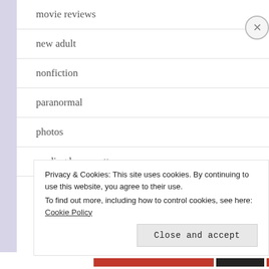movie reviews
new adult
nonfiction
paranormal
photos
reading harry potter
Privacy & Cookies: This site uses cookies. By continuing to use this website, you agree to their use.
To find out more, including how to control cookies, see here: Cookie Policy
Close and accept